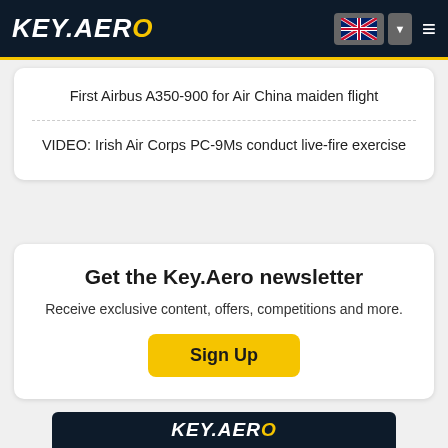KEY.AERO
First Airbus A350-900 for Air China maiden flight
VIDEO: Irish Air Corps PC-9Ms conduct live-fire exercise
Get the Key.Aero newsletter
Receive exclusive content, offers, competitions and more.
Sign Up
[Figure (logo): KEY.AERO logo at bottom of page]